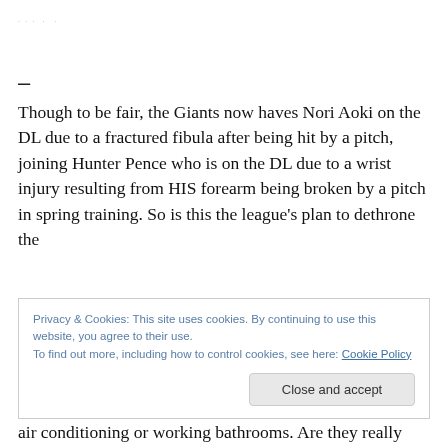· · · · ·
–
Though to be fair, the Giants now haves Nori Aoki on the DL due to a fractured fibula after being hit by a pitch, joining Hunter Pence who is on the DL due to a wrist injury resulting from HIS forearm being broken by a pitch in spring training. So is this the league's plan to dethrone the
Privacy & Cookies: This site uses cookies. By continuing to use this website, you agree to their use.
To find out more, including how to control cookies, see here: Cookie Policy
Close and accept
air conditioning or working bathrooms. Are they really